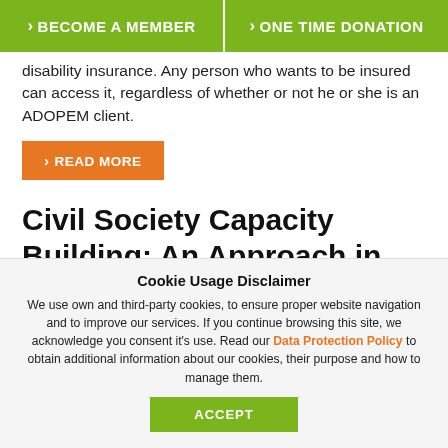> BECOME A MEMBER   > ONE TIME DONATION
disability insurance. Any person who wants to be insured can access it, regardless of whether or not he or she is an ADOPEM client.
> READ MORE
Civil Society Capacity Building: An Approach in Uganda
Cookie Usage Disclaimer
We use own and third-party cookies, to ensure proper website navigation and to improve our services. If you continue browsing this site, we acknowledge you consent it's use. Read our Data Protection Policy to obtain additional information about our cookies, their purpose and how to manage them.
ACCEPT